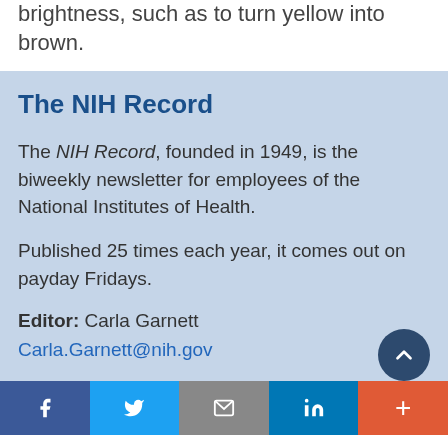brightness, such as to turn yellow into brown.
The NIH Record
The NIH Record, founded in 1949, is the biweekly newsletter for employees of the National Institutes of Health.
Published 25 times each year, it comes out on payday Fridays.
Editor: Carla Garnett
Carla.Garnett@nih.gov
Associate Editor: Dana Talesnik